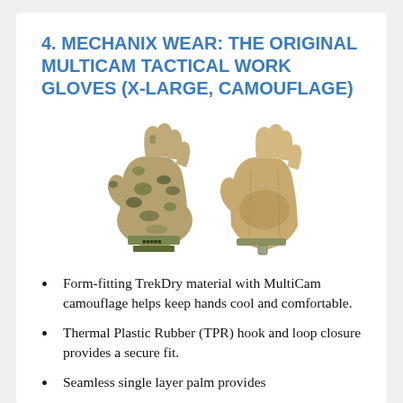4. MECHANIX WEAR: THE ORIGINAL MULTICAM TACTICAL WORK GLOVES (X-LARGE, CAMOUFLAGE)
[Figure (photo): Two camouflage tactical gloves shown front and back view — MultiCam pattern gloves by Mechanix Wear]
Form-fitting TrekDry material with MultiCam camouflage helps keep hands cool and comfortable.
Thermal Plastic Rubber (TPR) hook and loop closure provides a secure fit.
Seamless single layer palm provides